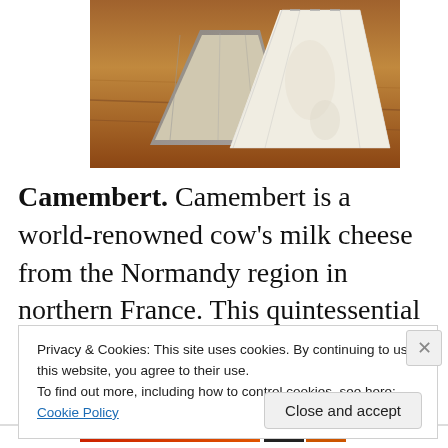[Figure (photo): Wedges of Camembert cheese on a wooden board, showing white bloomy rind and ivory interior.]
Camembert. Camembert is a world-renowned cow's milk cheese from the Normandy region in northern France. This quintessential French cheese has a soft, white, bloomy rind; luxurious ivory pâte; and buttery, grassy flavor. The taste of a ripe Camembert is reminiscent of wild
Privacy & Cookies: This site uses cookies. By continuing to use this website, you agree to their use.
To find out more, including how to control cookies, see here: Cookie Policy